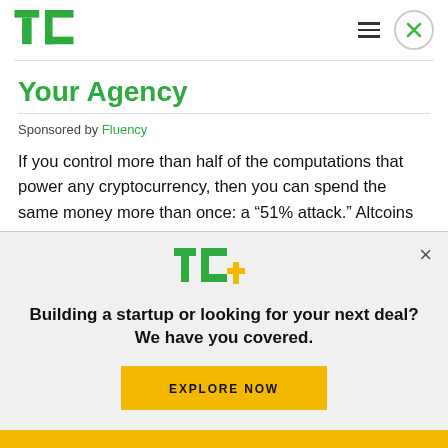TechCrunch header with logo, hamburger menu, and close button
Your Agency
Sponsored by Fluency
If you control more than half of the computations that power any cryptocurrency, then you can spend the same money more than once: a “51% attack.” Altcoins are especially vulnerable. But the stunning
[Figure (infographic): TechCrunch TC+ subscription modal overlay with logo, headline 'Building a startup or looking for your next deal? We have you covered.' and an EXPLORE NOW button]